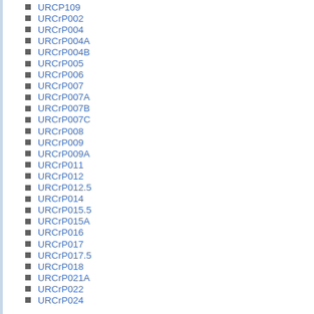URCP109
URCrP002
URCrP004
URCrP004A
URCrP004B
URCrP005
URCrP006
URCrP007
URCrP007A
URCrP007B
URCrP007C
URCrP008
URCrP009
URCrP009A
URCrP011
URCrP012
URCrP012.5
URCrP014
URCrP015.5
URCrP015A
URCrP016
URCrP017
URCrP017.5
URCrP018
URCrP021A
URCrP022
URCrP024